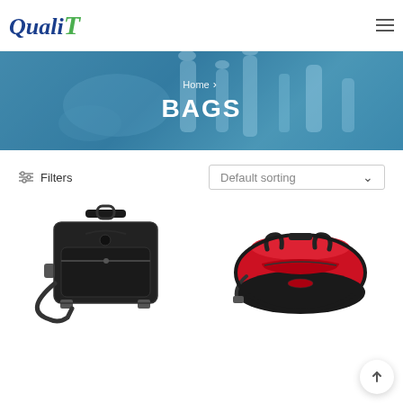[Figure (logo): QualiT logo with stylized italic text, 'Quali' in dark blue and 'T' in green]
[Figure (photo): Hero banner with blue-tinted background showing laboratory equipment]
Home > BAGS
BAGS
Filters
Default sorting
[Figure (photo): Black shoulder/camera bag with handle and strap]
[Figure (photo): Red and black duffel/sports bag]